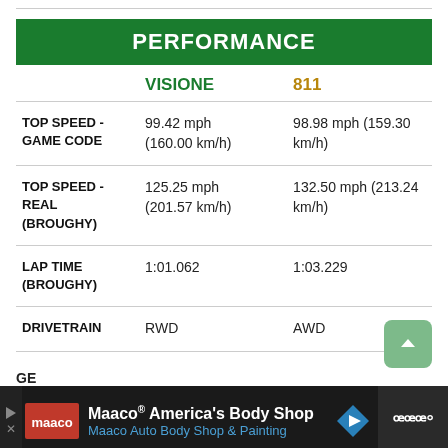PERFORMANCE
|  | VISIONE | 811 |
| --- | --- | --- |
| TOP SPEED - GAME CODE | 99.42 mph (160.00 km/h) | 98.98 mph (159.30 km/h) |
| TOP SPEED - REAL (BROUGHY) | 125.25 mph (201.57 km/h) | 132.50 mph (213.24 km/h) |
| LAP TIME (BROUGHY) | 1:01.062 | 1:03.229 |
| DRIVETRAIN | RWD | AWD |
[Figure (screenshot): Maaco advertisement banner at bottom of page]